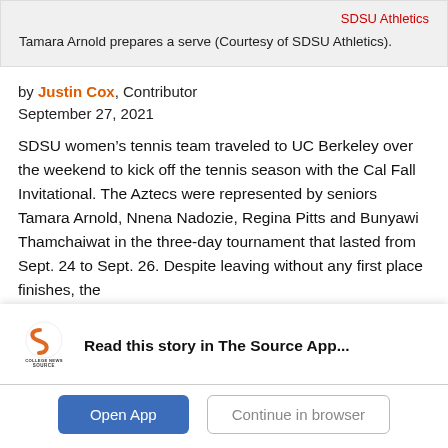SDSU Athletics
Tamara Arnold prepares a serve (Courtesy of SDSU Athletics).
by Justin Cox, Contributor
September 27, 2021
SDSU women’s tennis team traveled to UC Berkeley over the weekend to kick off the tennis season with the Cal Fall Invitational. The Aztecs were represented by seniors Tamara Arnold, Nnena Nadozie, Regina Pitts and Bunyawi Thamchaiwat in the three-day tournament that lasted from Sept. 24 to Sept. 26. Despite leaving without any first place finishes, the
[Figure (logo): College News Source app logo - circular S-shaped icon with 'COLLEGE NEWS SOURCE' text below]
Read this story in The Source App...
Open App
Continue in browser